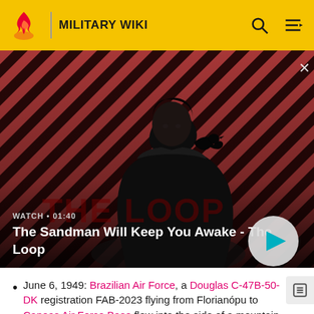Military Wiki
[Figure (screenshot): Video thumbnail for 'The Sandman Will Keep You Awake - The Loop' with a dark-cloaked figure against a red diagonal striped background. Shows WATCH • 01:40 label and a play button.]
June 6, 1949: Brazilian Air Force, a Douglas C-47B-50-DK registration FAB-2023 flying from Florianóp[olis] to Canoas Air Force Base flew into the side of a mountain shortly after take-off and flying into heavy overcast. All 28 passengers and crew died [4]